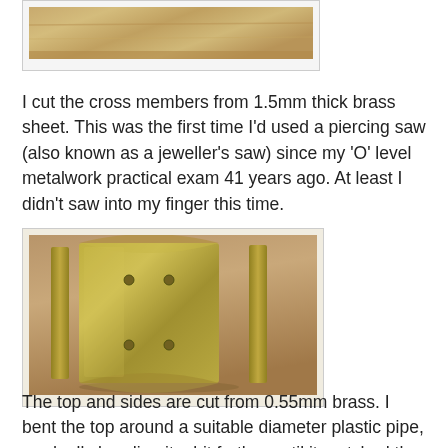[Figure (photo): Partial photo of a wooden surface, cut off at top of page]
I cut the cross members from 1.5mm thick brass sheet. This was the first time I'd used a piercing saw (also known as a jeweller's saw) since my 'O' level metalwork practical exam 41 years ago. At least I didn't saw into my finger this time.
[Figure (photo): Photo of brass sheet pieces cut into cross member shapes, showing two bent pieces and a strip, lying on a wooden surface]
The top and sides are cut from 0.55mm brass. I bent the top around a suitable diameter plastic pipe, gradually bending it a bit further until it matched the curve of the cross members